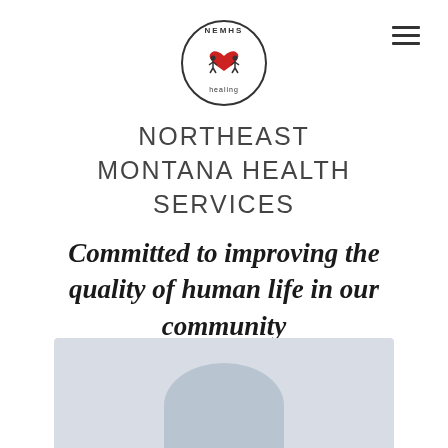[Figure (logo): NEMHS circular logo with red heart and people figures, text reading 'NEMHS' and 'healing']
NORTHEAST MONTANA HEALTH SERVICES
Committed to improving the quality of human life in our community
[Figure (photo): Partial photo of a person, light blue/grey background, cropped at bottom of page]